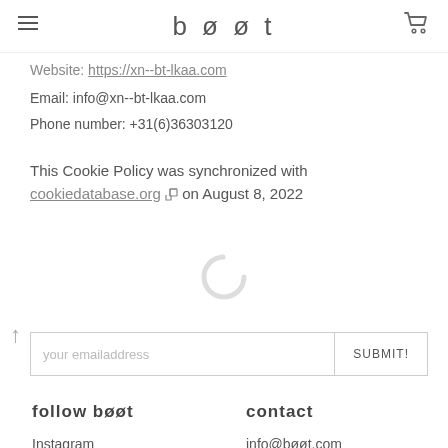bøøt
Website: https://xn--bt-lkaa.com
Email: info@xn--bt-lkaa.com
Phone number: +31(6)36303120
This Cookie Policy was synchronized with cookiedatabase.org on August 8, 2022
your emailaddress   SUBMIT!
follow bøøt
contact
Instagram
info@bøøt.com
Facebook
+31 (0)6 36 30 31 20